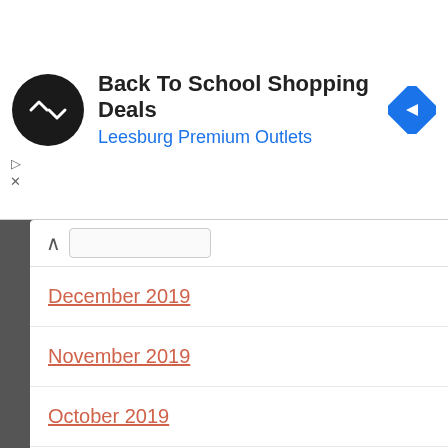[Figure (screenshot): Advertisement banner with a black circular logo with double arrow symbol, text 'Back To School Shopping Deals' and 'Leesburg Premium Outlets' in blue, and a blue diamond navigation icon on the right.]
December 2019
November 2019
October 2019
September 2019
August 2019
July 2019
June 2019
May 2019